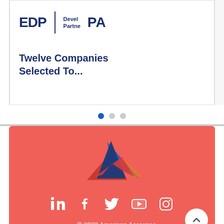[Figure (logo): EDP logo with text 'Devel... Partne...' in dark navy blue]
Twelve Companies Selected To...
[Figure (illustration): Carousel navigation dots: one blue (active), two grey]
[Figure (logo): American Aerospace logo - stylized letter A in red and blue on coral/red background]
[Figure (infographic): Social media icons: LinkedIn, Facebook, Twitter, YouTube, Instagram in white on coral background]
© 2022 American Aerospac...